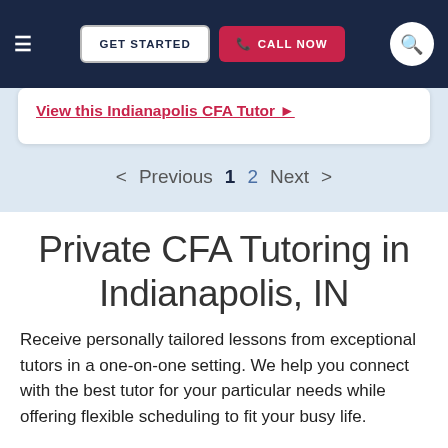GET STARTED  CALL NOW
View this Indianapolis CFA Tutor ▶
< Previous  1  2  Next >
Private CFA Tutoring in Indianapolis, IN
Receive personally tailored lessons from exceptional tutors in a one-on-one setting. We help you connect with the best tutor for your particular needs while offering flexible scheduling to fit your busy life.